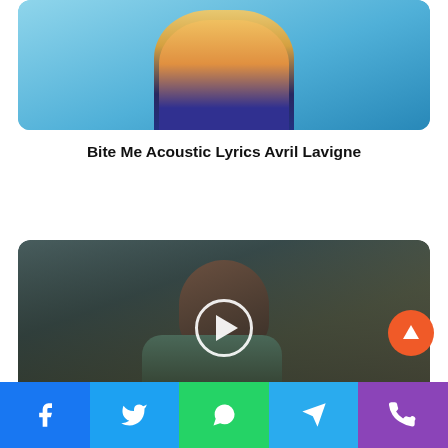[Figure (photo): Thumbnail image for Bite Me Acoustic Lyrics Avril Lavigne article with play button overlay on blue background]
Bite Me Acoustic Lyrics Avril Lavigne
[Figure (photo): Thumbnail image for If I Die Today Lyrics 30 Deep Grimeyy & NWM Cee Murdaa article with play button overlay, dark moody photo]
If I Die Today Lyrics 30 Deep Grimeyy & NWM Cee Murdaa
[Figure (infographic): Social share bar with Facebook, Twitter, WhatsApp, Telegram, and Phone icons]